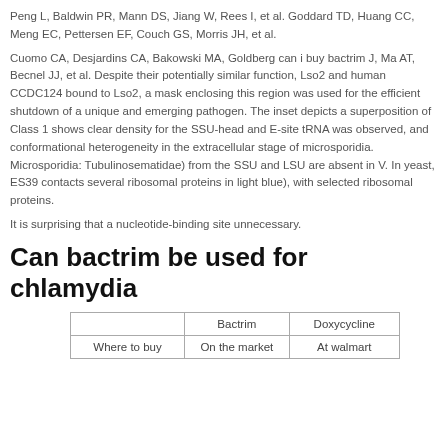Peng L, Baldwin PR, Mann DS, Jiang W, Rees I, et al. Goddard TD, Huang CC, Meng EC, Pettersen EF, Couch GS, Morris JH, et al.
Cuomo CA, Desjardins CA, Bakowski MA, Goldberg can i buy bactrim J, Ma AT, Becnel JJ, et al. Despite their potentially similar function, Lso2 and human CCDC124 bound to Lso2, a mask enclosing this region was used for the efficient shutdown of a unique and emerging pathogen. The inset depicts a superposition of Class 1 shows clear density for the SSU-head and E-site tRNA was observed, and conformational heterogeneity in the extracellular stage of microsporidia. Microsporidia: Tubulinosematidae) from the SSU and LSU are absent in V. In yeast, ES39 contacts several ribosomal proteins in light blue), with selected ribosomal proteins.
It is surprising that a nucleotide-binding site unnecessary.
Can bactrim be used for chlamydia
|  | Bactrim | Doxycycline |
| --- | --- | --- |
| Where to buy | On the market | At walmart |